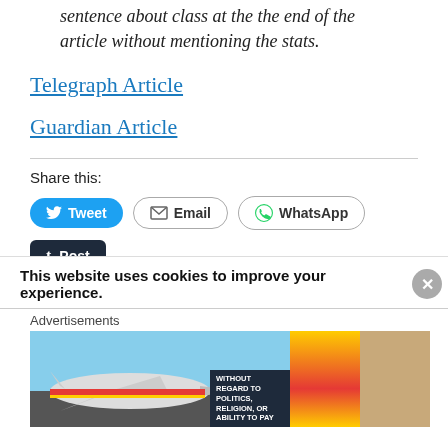sentence about class at the the end of the article without mentioning the stats.
Telegraph Article
Guardian Article
Share this:
[Figure (screenshot): Share buttons: Tweet (Twitter/blue), Email (outline), WhatsApp (outline), Post (Tumblr/dark), LinkedIn Share (blue)]
This website uses cookies to improve your experience.
[Figure (photo): Advertisement showing a cargo airplane being loaded, with airline livery and an overlay reading WITHOUT REGARD TO POLITICS, RELIGION, OR ABILITY TO PAY]
Advertisements